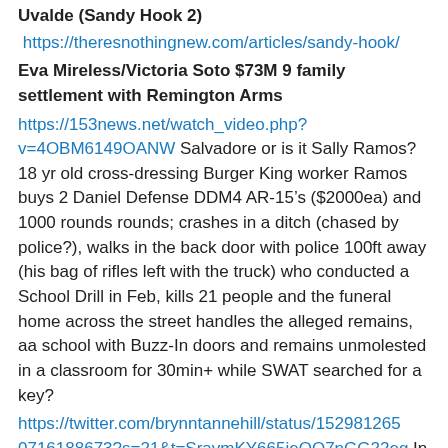Uvalde (Sandy Hook 2)
https://theresnothingnew.com/articles/sandy-hook/
Eva Mireless/Victoria Soto $73M 9 family settlement with Remington Arms
https://153news.net/watch_video.php?v=4OBM6149OANW Salvadore or is it Sally Ramos? 18 yr old cross-dressing Burger King worker Ramos buys 2 Daniel Defense DDM4 AR-15’s ($2000ea) and 1000 rounds rounds; crashes in a ditch (chased by police?), walks in the back door with police 100ft away (his bag of rifles left with the truck) who conducted a School Drill in Feb, kills 21 people and the funeral home across the street handles the alleged remains, aa school with Buzz-In doors and remains unmolested in a classroom for 30min+ while SWAT searched for a key?
https://twitter.com/brynntannehill/status/1529812650716188673?s=21&t=SravmKY665ieQO7nGG22eg In 2005 Opus Dei Jesuit Antonin Scalia decision renders “incompetent, cowardly, negligent police actions...